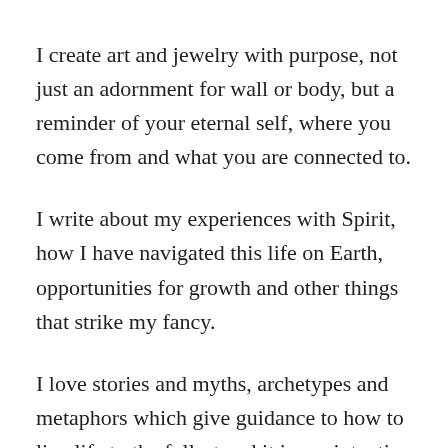I create art and jewelry with purpose, not just an adornment for wall or body, but a reminder of your eternal self, where you come from and what you are connected to.
I write about my experiences with Spirit, how I have navigated this life on Earth, opportunities for growth and other things that strike my fancy.
I love stories and myths, archetypes and metaphors which give guidance to how to live life to the fullest and it is my intention that my creations help to remind you of your connection